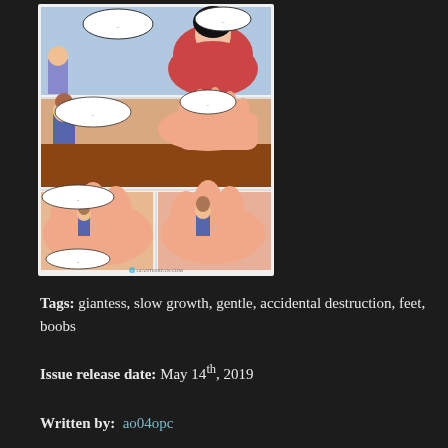[Figure (illustration): Comic book page panels showing anime-style characters including a large woman in red and a smaller woman in blue uniform in various scenes]
Tags: giantess, slow growth, gentle, accidental destruction, feet, boobs
Issue release date: May 14th, 2019
Written by: ao04opc